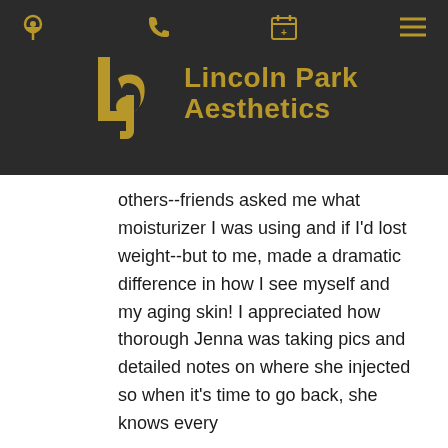Lincoln Park Aesthetics - navigation header with logo
others--friends asked me what moisturizer I was using and if I'd lost weight--but to me, made a dramatic difference in how I see myself and my aging skin! I appreciated how thorough Jenna was taking pics and detailed notes on where she injected so when it's time to go back, she knows every